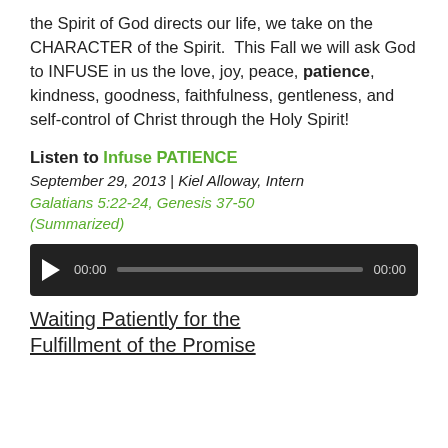the Spirit of God directs our life, we take on the CHARACTER of the Spirit.  This Fall we will ask God to INFUSE in us the love, joy, peace, patience, kindness, goodness, faithfulness, gentleness, and self-control of Christ through the Holy Spirit!
Listen to Infuse PATIENCE
September 29, 2013 | Kiel Alloway, Intern
Galatians 5:22-24, Genesis 37-50 (Summarized)
[Figure (other): Audio player with play button, progress bar, and time display showing 00:00]
Waiting Patiently for the Fulfillment of the Promise